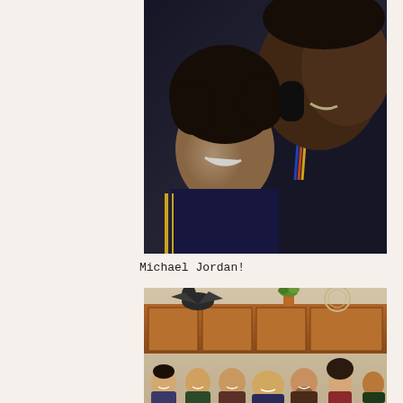[Figure (photo): Close-up selfie of two people smiling, one with an afro and one who is very tall, in what appears to be an indoor setting. The caption identifies the tall person as Michael Jordan.]
Michael Jordan!
[Figure (photo): Group photo of several people in a kitchen or dining area with wooden cabinets, decorative pelican sculpture, and plants on top of the cabinets.]